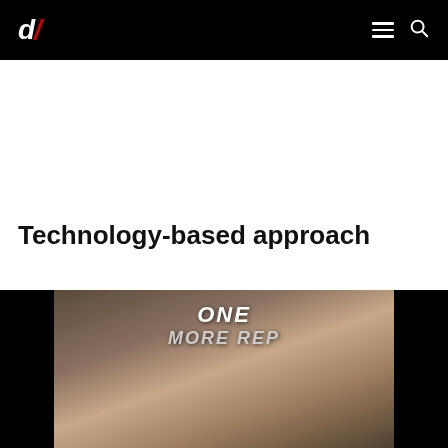d/ [logo] with menu and search icons
Technology-based approach
[Figure (photo): Fitness/gym photo of a woman doing a dumbbell workout with text overlay reading 'ONE MORE REP' in bold italic white and gray letters, dark side bars on left and right of the image.]